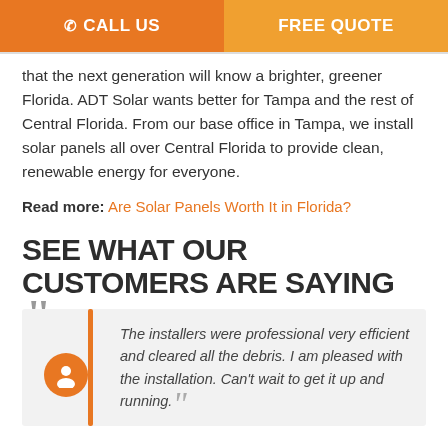CALL US | FREE QUOTE
that the next generation will know a brighter, greener Florida. ADT Solar wants better for Tampa and the rest of Central Florida. From our base office in Tampa, we install solar panels all over Central Florida to provide clean, renewable energy for everyone.
Read more: Are Solar Panels Worth It in Florida?
SEE WHAT OUR CUSTOMERS ARE SAYING
The installers were professional very efficient and cleared all the debris. I am pleased with the installation. Can't wait to get it up and running.